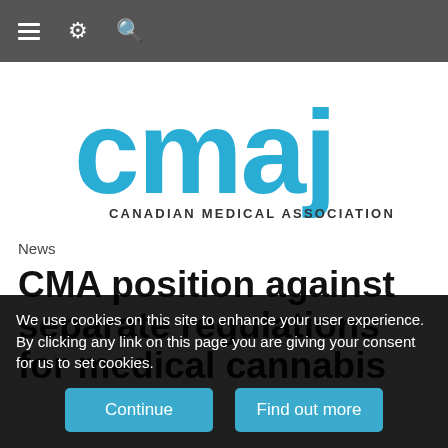Navigation bar with menu, settings, and search icons
[Figure (logo): CMAJ - Canadian Medical Association Journal logo in blue]
News
CMA position against separate regulations for medical cannabis
We use cookies on this site to enhance your user experience. By clicking any link on this page you are giving your consent for us to set cookies.
Continue | Find out more